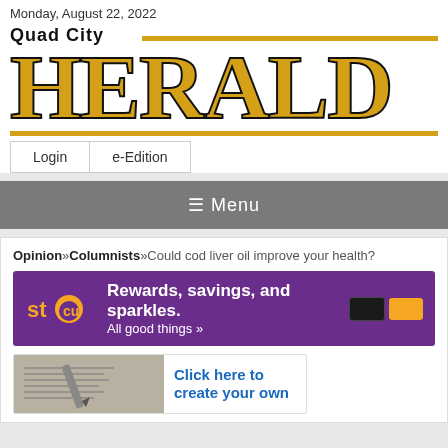Monday, August 22, 2022
[Figure (logo): Quad City Herald newspaper logo with large yellow/gold HERALD text and black outline, two gold horizontal lines]
[Figure (screenshot): Navigation buttons: Login and e-Edition]
[Figure (screenshot): Grey navigation menu bar with hamburger menu icon and Menu text]
Opinion»Columnists»Could cod liver oil improve your health?
[Figure (infographic): STCU advertisement banner: purple background, stcu logo in orange/yellow, text Rewards, savings, and sparkles. All good things », two credit cards on right]
[Figure (infographic): Advertisement showing pen writing on paper with text Click here to create your own]